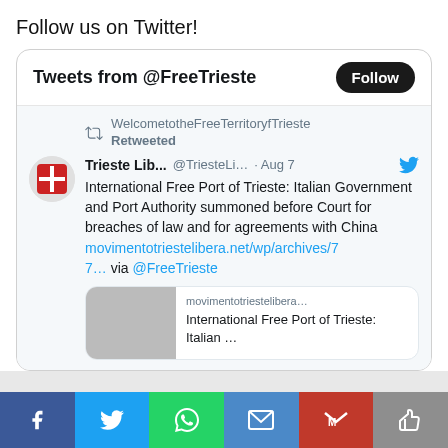Follow us on Twitter!
Tweets from @FreeTrieste
WelcometotheFreeTerritoryfTrieste Retweeted
Trieste Lib... @TriesteLi... · Aug 7
International Free Port of Trieste: Italian Government and Port Authority summoned before Court for breaches of law and for agreements with China movimentotriestelibera.net/wp/archives/77… via @FreeTrieste
movimentotriesteliber… International Free Port of Trieste: Italian …